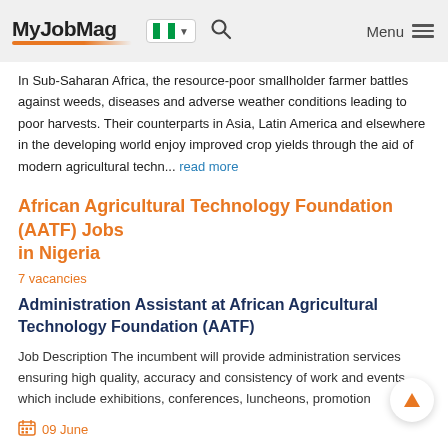MyJobMag
In Sub-Saharan Africa, the resource-poor smallholder farmer battles against weeds, diseases and adverse weather conditions leading to poor harvests. Their counterparts in Asia, Latin America and elsewhere in the developing world enjoy improved crop yields through the aid of modern agricultural techn... read more
African Agricultural Technology Foundation (AATF) Jobs in Nigeria
7 vacancies
Administration Assistant at African Agricultural Technology Foundation (AATF)
Job Description The incumbent will provide administration services ensuring high quality, accuracy and consistency of work and events which include exhibitions, conferences, luncheons, promotion
09 June